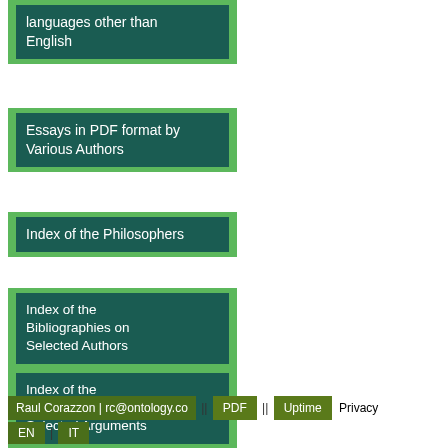languages other than English
Essays in PDF format by Various Authors
Index of the Philosophers
Index of the Bibliographies on Selected Authors
Index of the Bibliographies on Selected Arguments
Skip to the menu
Raul Corazzon | rc@ontology.co || PDF || Uptime Privacy EN | IT